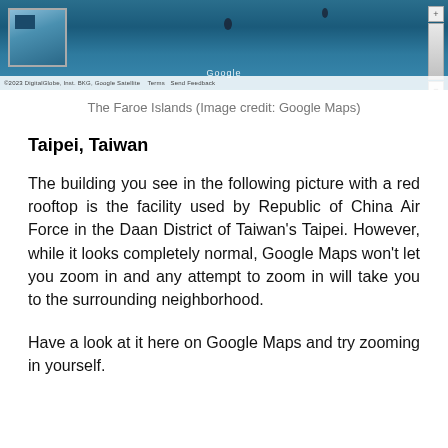[Figure (screenshot): Google Maps satellite view of the Faroe Islands showing dark ocean with small island landmasses visible, Google logo centered at bottom, map controls on right side, thumbnail inset on upper left.]
The Faroe Islands (Image credit: Google Maps)
Taipei, Taiwan
The building you see in the following picture with a red rooftop is the facility used by Republic of China Air Force in the Daan District of Taiwan's Taipei. However, while it looks completely normal, Google Maps won't let you zoom in and any attempt to zoom in will take you to the surrounding neighborhood.
Have a look at it here on Google Maps and try zooming in yourself.